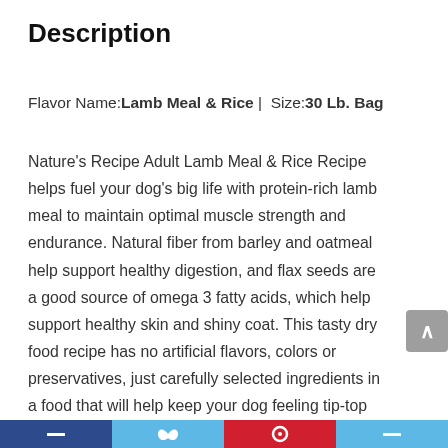Description
Flavor Name: Lamb Meal & Rice | Size: 30 Lb. Bag
Nature's Recipe Adult Lamb Meal & Rice Recipe helps fuel your dog's big life with protein-rich lamb meal to maintain optimal muscle strength and endurance. Natural fiber from barley and oatmeal help support healthy digestion, and flax seeds are a good source of omega 3 fatty acids, which help support healthy skin and shiny coat. This tasty dry food recipe has no artificial flavors, colors or preservatives, just carefully selected ingredients in a food that will help keep your dog feeling tip-top from paws to tail.